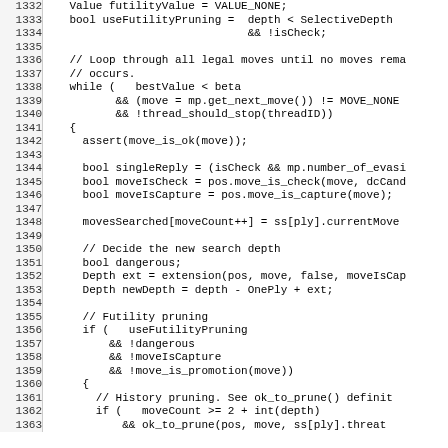[Figure (other): Source code listing (C++) with line numbers 1332-1363, showing chess engine search code with futility pruning logic]